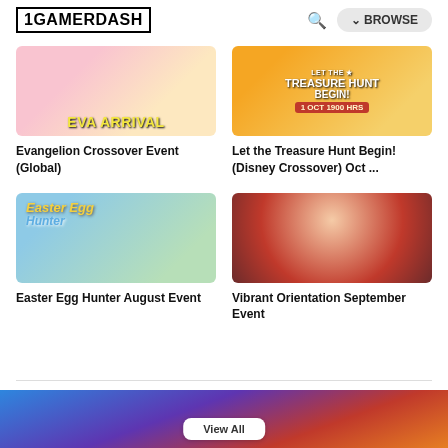1GAMERDASH
[Figure (screenshot): Eva Arrival game banner with anime characters]
Evangelion Crossover Event (Global)
[Figure (screenshot): Let the Treasure Hunt Begin! Disney Crossover banner]
Let the Treasure Hunt Begin! (Disney Crossover) Oct ...
[Figure (screenshot): Easter Egg Hunter event banner with anime character]
Easter Egg Hunter August Event
[Figure (screenshot): Vibrant Orientation September Event banner with anime characters]
Vibrant Orientation September Event
[Figure (screenshot): Partial bottom banner with game characters, View All button visible]